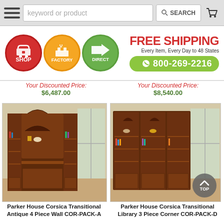[Figure (screenshot): Search bar with hamburger menu, keyword or product input, SEARCH button, and cart icon]
[Figure (logo): Shop Factory Direct logo with three colored circles (red SHOP, orange FACTORY, green DIRECT), FREE SHIPPING text, Every Item Every Day to 48 States, and phone number 800-269-2216 on green pill]
Your Discounted Price: $6,487.00
Your Discounted Price: $8,540.00
[Figure (photo): Parker House Corsica Transitional Antique 4 Piece Wall bookcase with desk in a room setting]
[Figure (photo): Parker House Corsica Transitional Library 3 Piece Corner bookcase in a room setting]
Parker House Corsica Transitional Antique 4 Piece Wall COR-PACK-A
Parker House Corsica Transitional Library 3 Piece Corner COR-PACK-D
Regular Retail Price: $4,360.99
Regular Retail Price: $3,941.99